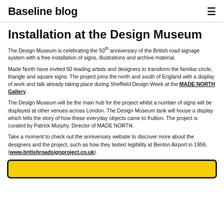Baseline blog
Installation at the Design Museum
The Design Museum is celebrating the 50th anniversary of the British road signage system with a free installation of signs, illustrations and archive material.
Made North have invited 50 leading artists and designers to transform the familiar circle, triangle and square signs. The project joins the north and south of England with a display of work and talk already taking place during Sheffield Design Week at the MADE NORTH Gallery.
The Design Museum will be the main hub for the project whilst a number of signs will be displayed at other venues across London. The Design Museum tank will house a display which tells the story of how these everyday objects came to fruition. The project is curated by Patrick Murphy, Director of MADE NORTH.
Take a moment to check out the anniversary website to discover more about the designers and the project, such as how they tested legibility at Benton Airport in 1959, (www.britishroadsignproject.co.uk).
[Figure (other): Yellow road sign image partially visible at bottom of page]